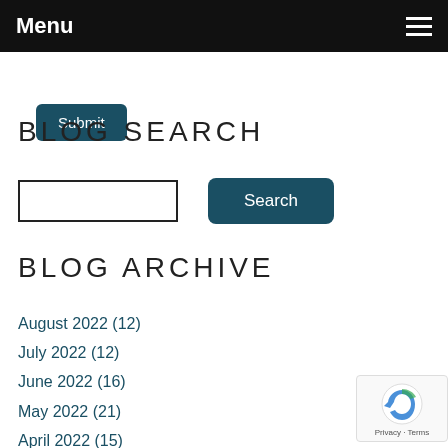Menu
Submit
BLOG SEARCH
[Figure (other): Search input field and Search button]
BLOG ARCHIVE
August 2022 (12)
July 2022 (12)
June 2022 (16)
May 2022 (21)
April 2022 (15)